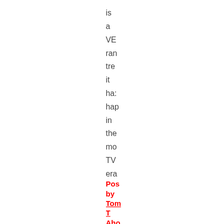is a VE ran tre it has hap in the mo TV era
Posted by Tom T Aho at 03:: AM